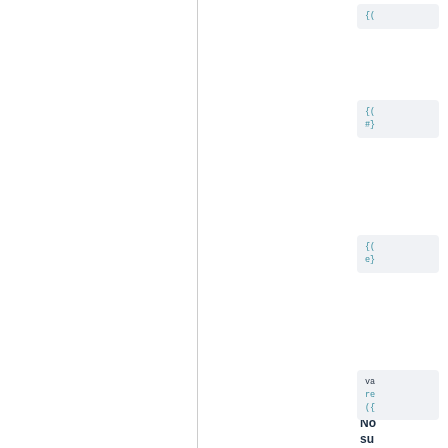[Figure (screenshot): Code snippet block 1 showing opening curly brace syntax in teal/blue monospace font on light gray background]
[Figure (screenshot): Code snippet block 2 showing opening curly brace, hash/pound symbol and closing bracket syntax in teal/blue monospace font on light gray background]
[Figure (screenshot): Code snippet block 3 showing opening curly brace and 'e' prefix syntax in teal/blue monospace font on light gray background]
No su co te sp
[Figure (screenshot): Code snippet block 4 showing 'va', 're', and opening curly brace lines in teal/blue monospace font on light gray background]